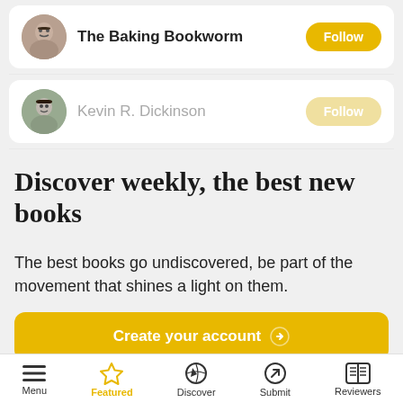The Baking Bookworm
Follow
Kevin R. Dickinson
Follow
Discover weekly, the best new books
The best books go undiscovered, be part of the movement that shines a light on them.
Create your account
Menu | Featured | Discover | Submit | Reviewers